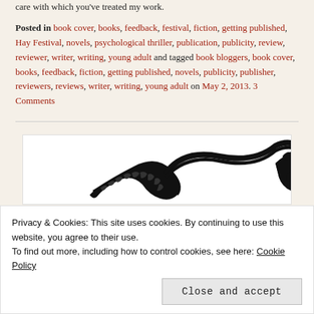care with which you've treated my work.
Posted in book cover, books, feedback, festival, fiction, getting published, Hay Festival, novels, psychological thriller, publication, publicity, review, reviewer, writer, writing, young adult and tagged book bloggers, book cover, books, feedback, fiction, getting published, novels, publicity, publisher, reviewers, reviews, writer, writing, young adult on May 2, 2013. 3 Comments
[Figure (illustration): Black and white illustration of a snake or serpentine creature, partially visible, on a white background within a bordered article preview box]
Privacy & Cookies: This site uses cookies. By continuing to use this website, you agree to their use.
To find out more, including how to control cookies, see here: Cookie Policy
Close and accept